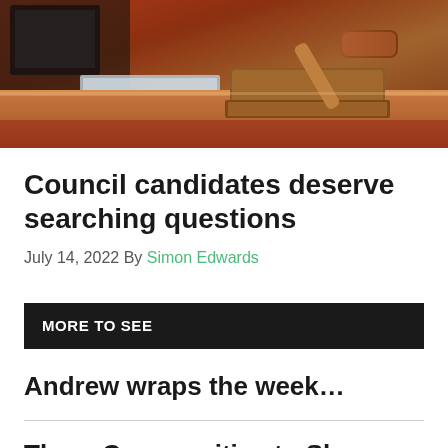[Figure (photo): A gavel resting on a wooden base on a desk, with a nameplate and other items visible in the background, suggesting a council or court setting.]
Council candidates deserve searching questions
July 14, 2022 By Simon Edwards
MORE TO SEE
Andrew wraps the week…
Three Communities to Share $8M